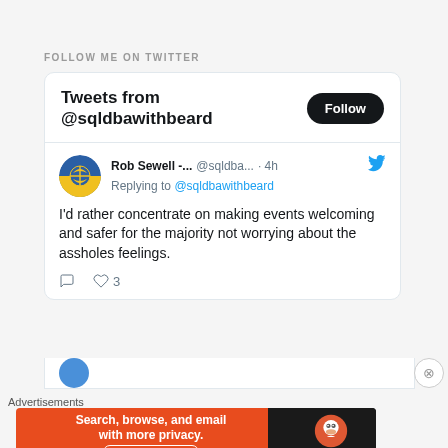FOLLOW ME ON TWITTER
[Figure (screenshot): Twitter widget showing tweets from @sqldbawithbeard with a Follow button and a tweet from Rob Sewell replying to @sqldbawithbeard]
Rob Sewell -... @sqldba... · 4h
Replying to @sqldbawithbeard
I'd rather concentrate on making events welcoming and safer for the majority not worrying about the assholes feelings.
Advertisements
[Figure (screenshot): DuckDuckGo advertisement banner: Search, browse, and email with more privacy. All in One Free App]